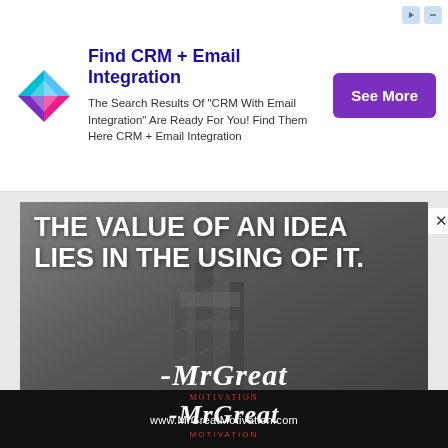[Figure (infographic): Advertisement banner with colorful diamond logo, title 'Find CRM + Email Integration', descriptive text, and 'See More' purple button. Top-right has small navigation arrow icons.]
[Figure (photo): Motivational quote image with grayscale background photo of a tall structure/tower, bold white text reading 'THE VALUE OF AN IDEA LIES IN THE USING OF IT.' with MrGreat script logo and www.MrGreatMotivation.com URL at the bottom. A close (X) button is at top-right.]
[Figure (logo): Footer bar with black background showing MrGreat Motivation logo in white italic script text.]